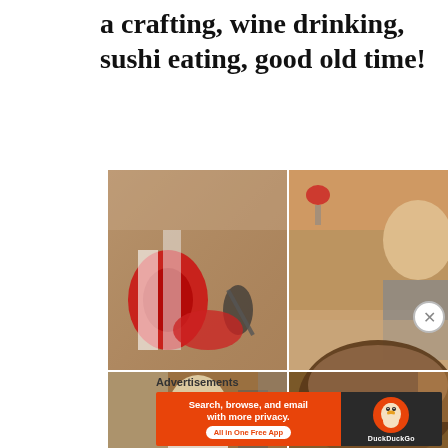a crafting, wine drinking, sushi eating, good old time!
[Figure (photo): Four-panel photo grid showing crafting supplies (ribbon rolls, scissors, cutting mat), a woman smiling in a kitchen working with ribbon, a woman sitting at a table crafting, and a close-up of someone's hair from behind.]
Advertisements
[Figure (other): DuckDuckGo advertisement banner: orange left half reading 'Search, browse, and email with more privacy. All in One Free App' with white text and button, dark right half with DuckDuckGo duck logo and brand name.]